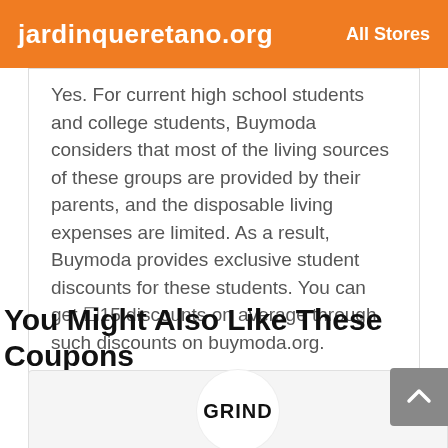jardinqueretano.org   All Stores
Yes. For current high school students and college students, Buymoda considers that most of the living sources of these groups are provided by their parents, and the disposable living expenses are limited. As a result, Buymoda provides exclusive student discounts for these students. You can get ⬜15 discounts on average through such discounts on buymoda.org.
You Might Also Like These Coupons
[Figure (logo): GRIND logo inside a white circle on a light grey coupon card background]